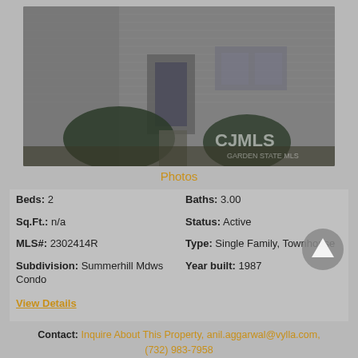[Figure (photo): Exterior photo of a townhouse with gray/beige siding, shrubs in front, and a walkway to the door. CJMLS watermark visible in bottom right corner.]
Photos
Beds: 2
Baths: 3.00
Sq.Ft.: n/a
Status: Active
MLS#: 2302414R
Type: Single Family, Townhouse
Subdivision: Summerhill Mdws Condo
Year built: 1987
View Details
Contact: Inquire About This Property, anil.aggarwal@vylla.com, (732) 983-7958